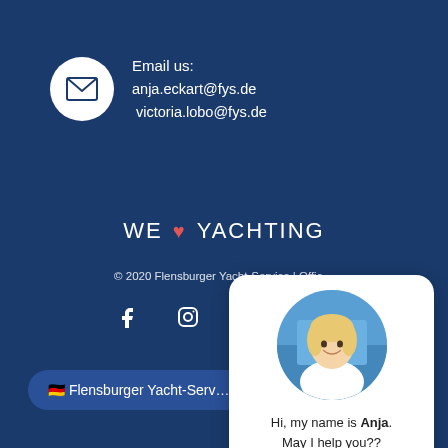[Figure (infographic): Email contact section with envelope icon in white circle and email addresses on dark blue background]
Email us:
anja.eckart@fys.de  victoria.lobo@fys.de
WE ♥ YACHTING
© 2020 Flensburger Yacht-Service | Offic...
[Figure (infographic): Social media icons: Facebook, Instagram, LinkedIn]
🇩🇪 Flensburger Yacht-Serv...
[Figure (photo): Chat widget with blonde woman photo, text 'Hi, my name is Anja. May I help you??' and phone number +34 609 255 602]